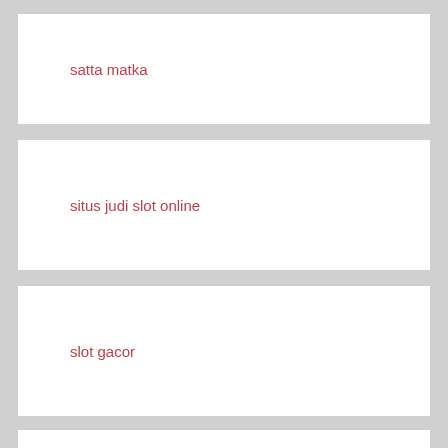satta matka
situs judi slot online
slot gacor
pragmatic88